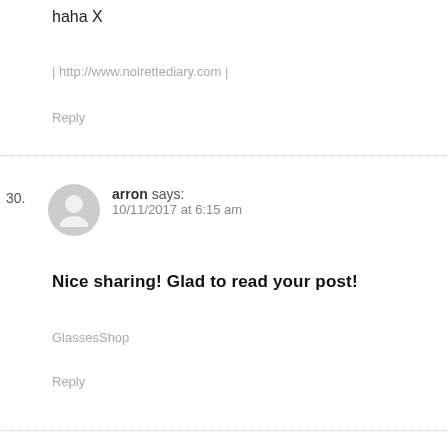haha X
| http://www.noirettediary.com |
Reply
30. arron says: 10/11/2017 at 6:15 am
Nice sharing! Glad to read your post!
GlassesShop
Reply